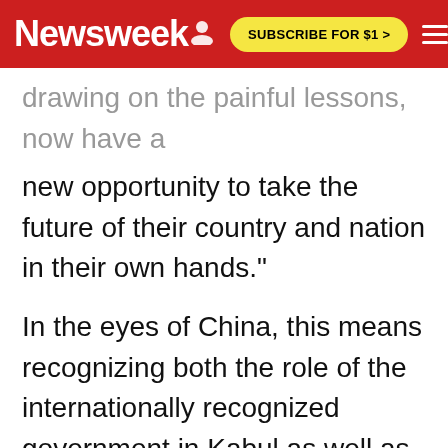Newsweek | SUBSCRIBE FOR $1 >
drawing on the painful lessons, now have a new opportunity to take the future of their country and nation in their own hands."
In the eyes of China, this means recognizing both the role of the internationally recognized government in Kabul as well as the Taliban, which Wang referred to as "a major military force in Afghanistan" that "should recognize its responsibility toward the country and the nation, make a clean break with all terrorist forces and return to Afghanistan's political mainstream with a sense of responsibility for